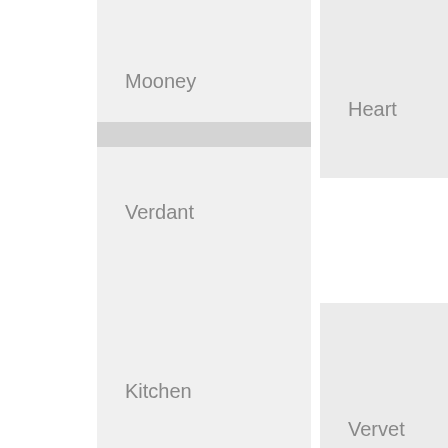Mooney
Heart
Verdant
Kitchen
Vervet
Vessel
Candle
VIE
Co
HEALING